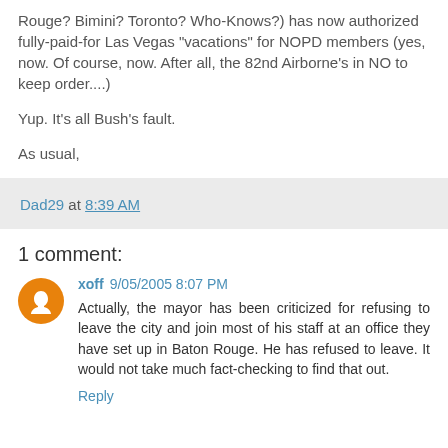Rouge? Bimini? Toronto? Who-Knows?) has now authorized fully-paid-for Las Vegas "vacations" for NOPD members (yes, now. Of course, now. After all, the 82nd Airborne's in NO to keep order....)
Yup. It's all Bush's fault.
As usual,
Dad29 at 8:39 AM
1 comment:
xoff 9/05/2005 8:07 PM
Actually, the mayor has been criticized for refusing to leave the city and join most of his staff at an office they have set up in Baton Rouge. He has refused to leave. It would not take much fact-checking to find that out.
Reply